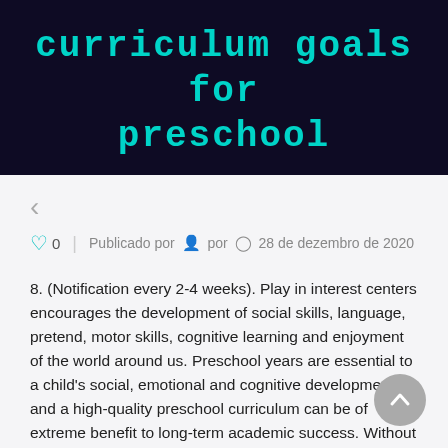curriculum goals for preschool
< (back navigation arrow)
0  |  Publicado por  por  28 de dezembro de 2020
8. (Notification every 2-4 weeks). Play in interest centers encourages the development of social skills, language, pretend, motor skills, cognitive learning and enjoyment of the world around us. Preschool years are essential to a child's social, emotional and cognitive development, and a high-quality preschool curriculum can be of extreme benefit to long-term academic success. Without goals it is easy to end up teaching just about anything. Correspondingly, what should you look for in a preschool